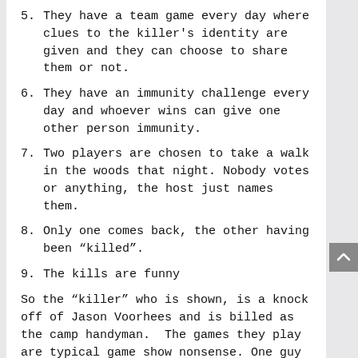5. They have a team game every day where clues to the killer's identity are given and they can choose to share them or not.
6. They have an immunity challenge every day and whoever wins can give one other person immunity.
7. Two players are chosen to take a walk in the woods that night. Nobody votes or anything, the host just names them.
8. Only one comes back, the other having been "killed".
9. The kills are funny
So the "killer" who is shown, is a knock off of Jason Voorhees and is billed as the camp handyman.  The games they play are typical game show nonsense. One guy has a 'romance' with a gal on the show even though they have only been there for two days. And